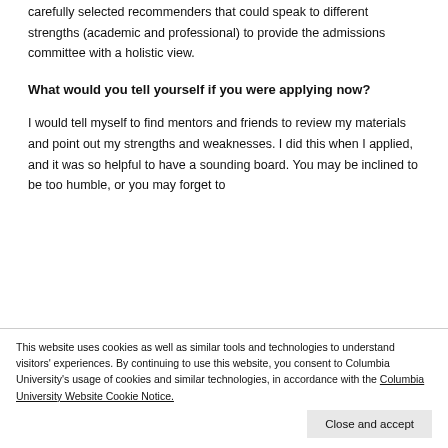carefully selected recommenders that could speak to different strengths (academic and professional) to provide the admissions committee with a holistic view.
What would you tell yourself if you were applying now?
I would tell myself to find mentors and friends to review my materials and point out my strengths and weaknesses. I did this when I applied, and it was so helpful to have a sounding board. You may be inclined to be too humble, or you may forget to
This website uses cookies as well as similar tools and technologies to understand visitors' experiences. By continuing to use this website, you consent to Columbia University's usage of cookies and similar technologies, in accordance with the Columbia University Website Cookie Notice.
Close and accept
Nabiha.